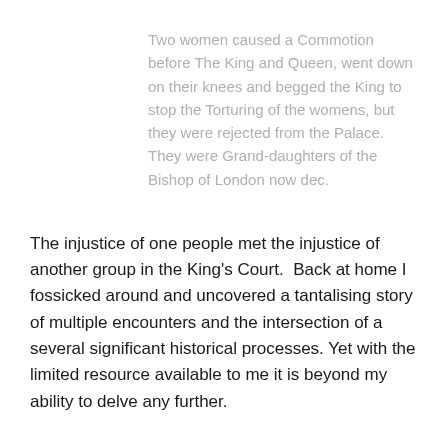Two women caused a Commotion before The King and Queen, went down on their knees and begged the King to stop the Torturing of the womens, but they were rejected from the Palace.  They were Grand-daughters of the Bishop of London now dec.
The injustice of one people met the injustice of another group in the King's Court.  Back at home I fossicked around and uncovered a tantalising story of multiple encounters and the intersection of a several significant historical processes. Yet with the limited resource available to me it is beyond my ability to delve any further.
I had known nothing about any of this history previously.